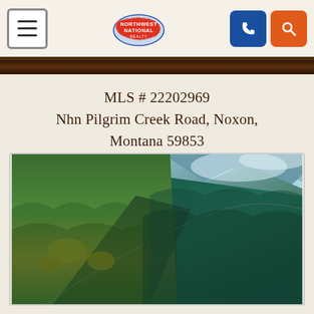Northwest National Realty — navigation bar with hamburger menu, logo, phone button, and search button
MLS # 22202969
Nhn Pilgrim Creek Road, Noxon, Montana 59853
[Figure (photo): Aerial photograph of a forested mountainous landscape near Noxon, Montana, showing dense evergreen and deciduous trees with a canyon or river valley visible, teal/green tones with autumn yellow patches.]